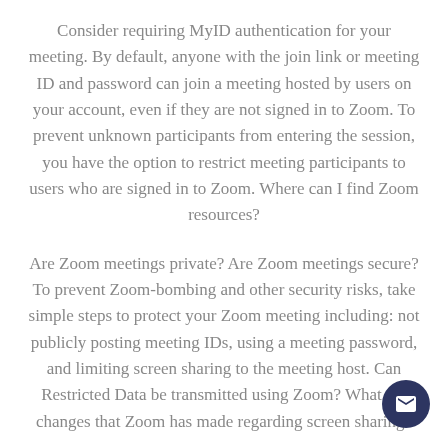Consider requiring MyID authentication for your meeting. By default, anyone with the join link or meeting ID and password can join a meeting hosted by users on your account, even if they are not signed in to Zoom. To prevent unknown participants from entering the session, you have the option to restrict meeting participants to users who are signed in to Zoom. Where can I find Zoom resources?
Are Zoom meetings private? Are Zoom meetings secure? To prevent Zoom-bombing and other security risks, take simple steps to protect your Zoom meeting including: not publicly posting meeting IDs, using a meeting password, and limiting screen sharing to the meeting host. Can Restricted Data be transmitted using Zoom? What are changes that Zoom has made regarding screen sharing?
Do I need a Zoom account to Join a meeting? How do I b…